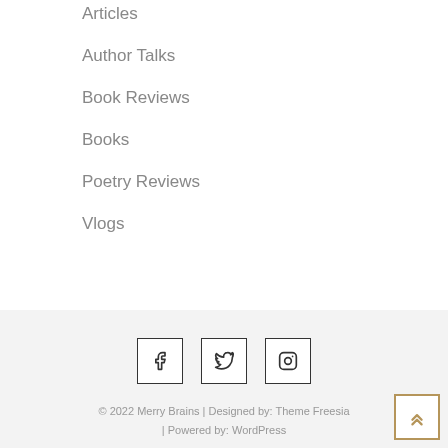Articles
Author Talks
Book Reviews
Books
Poetry Reviews
Vlogs
[Figure (infographic): Social media icons: Facebook, Twitter, Instagram in square bordered boxes]
© 2022 Merry Brains | Designed by: Theme Freesia | Powered by: WordPress